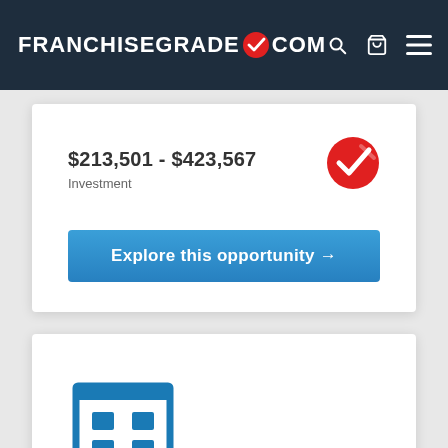FRANCHISEGRADE.COM
$213,501 - $423,567
Investment
[Figure (logo): Red circle checkmark logo]
Explore this opportunity →
[Figure (illustration): Blue building/office icon]